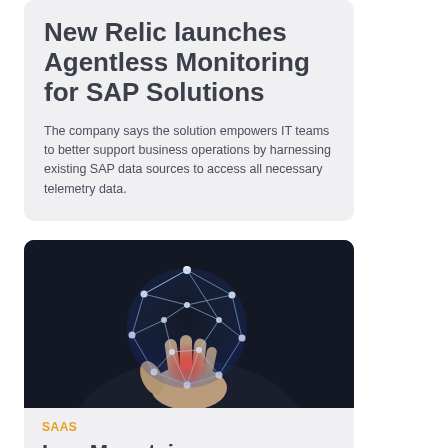New Relic launches Agentless Monitoring for SAP Solutions
The company says the solution empowers IT teams to better support business operations by harnessing existing SAP data sources to access all necessary telemetry data.
[Figure (photo): A hand holding a glowing geometric network sphere with nodes and edges, on a dark background, representing digital connectivity or IoT]
SAAS
Iron Mountain